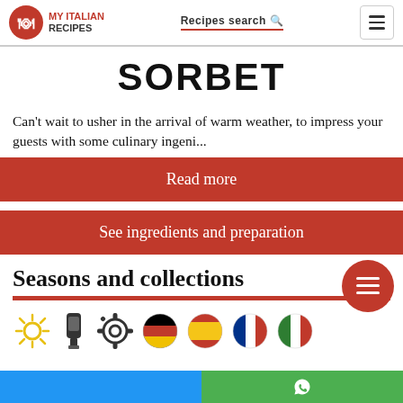MY ITALIAN RECIPES | Recipes search
SORBET
Can't wait to usher in the arrival of warm weather, to impress your guests with some culinary ingeni...
Read more
See ingredients and preparation
Seasons and collections
[Figure (other): Row of icons: sun, flashlight/app, settings gear, German flag circle, Spanish flag circle, French flag circle, Italian flag circle]
Blue and green footer bar with WhatsApp icon